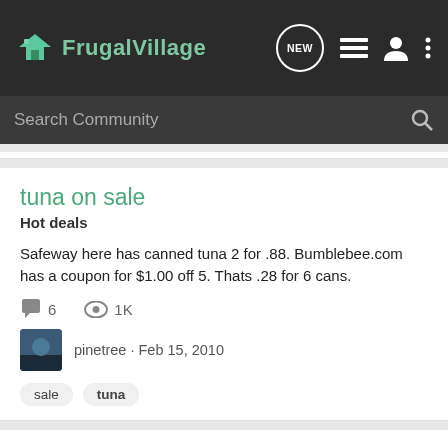FrugalVillage
Search Community
tuna on sale
Hot deals
Safeway here has canned tuna 2 for .88. Bumblebee.com has a coupon for $1.00 off 5. Thats .28 for 6 cans.
6  1K
pinetree · Feb 15, 2010
sale   tuna
Free Clover Leaf Flavoured Tuna (CA only)
Freebies
Get a free can of CloverLeaf Tuna for signing up to become